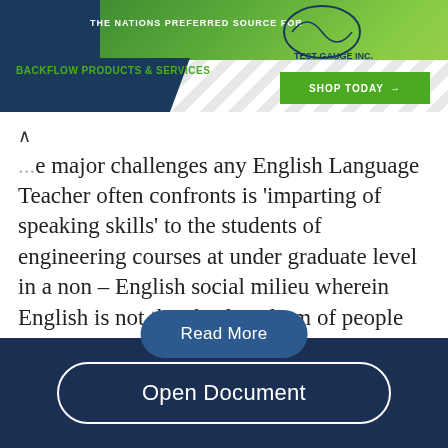[Figure (screenshot): Advertisement banner for Test Gauge Inc. featuring green and blue background with text 'THE NATIONS PREFERRED SOURCE FOR BACKFLOW PRODUCTS & SERVICES' and a 'SHOP TODAY' button]
...e major challenges any English Language Teacher often confronts is 'imparting of speaking skills' to the students of engineering courses at under graduate level in a non – English social milieu wherein English is not the chief medium of people for conversation. Even if the teachers endeavor to adopt the communicative language teaching...
Read More
Open Document